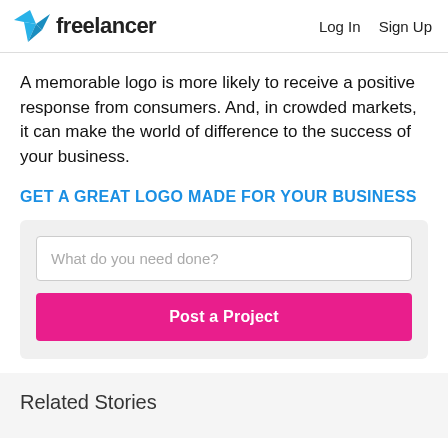freelancer | Log In  Sign Up
A memorable logo is more likely to receive a positive response from consumers. And, in crowded markets, it can make the world of difference to the success of your business.
GET A GREAT LOGO MADE FOR YOUR BUSINESS
[Figure (screenshot): Form box with text input 'What do you need done?' and a pink 'Post a Project' button]
Related Stories